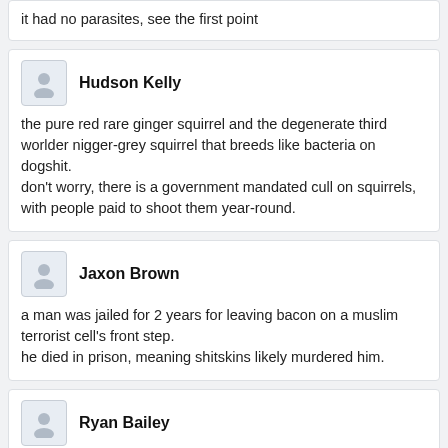it had no parasites, see the first point
Hudson Kelly
the pure red rare ginger squirrel and the degenerate third worlder nigger-grey squirrel that breeds like bacteria on dogshit.
don't worry, there is a government mandated cull on squirrels, with people paid to shoot them year-round.
Jaxon Brown
a man was jailed for 2 years for leaving bacon on a muslim terrorist cell's front step.
he died in prison, meaning shitskins likely murdered him.
Ryan Bailey
kill yourself /tranny/